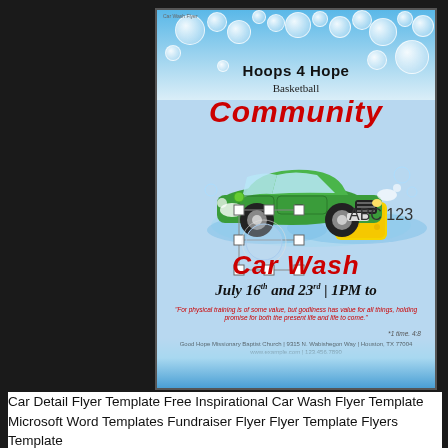[Figure (illustration): Car wash fundraiser flyer for Hoops 4 Hope Basketball Community Car Wash. Features a green cartoon car being washed with bubbles, blue water background, and event details for July 16th and 23rd at 1PM.]
Car Detail Flyer Template Free Inspirational Car Wash Flyer Template Microsoft Word Templates Fundraiser Flyer Flyer Template Flyers Template